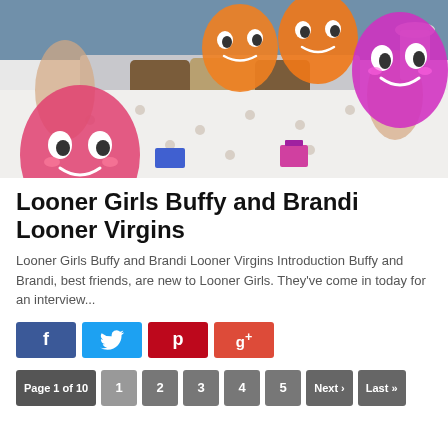[Figure (photo): Photo of bedroom scene with balloon cartoon characters overlaid on an image of two people on a bed with patterned white bedding, blue walls, and decorative pillows. Cartoon balloon characters include a pink balloon with eyes and a smiling face, orange balloons, and a pink balloon with cartoonish eyes.]
Looner Girls Buffy and Brandi Looner Virgins
Looner Girls Buffy and Brandi Looner Virgins Introduction Buffy and Brandi, best friends, are new to Looner Girls. They've come in today for an interview...
[Figure (infographic): Social media sharing buttons: Facebook (blue, f icon), Twitter (light blue, bird icon), Pinterest (red, P icon), Google+ (orange-red, g+ icon)]
Page 1 of 10  1  2  3  4  5  Next ›  Last »